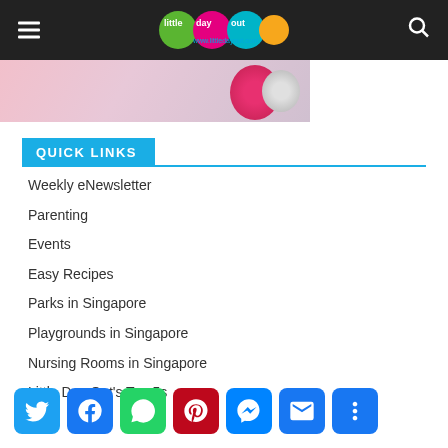Little Day Out – www.littledayout.com
[Figure (photo): Partial image of a child with colorful balloons or decorations visible]
QUICK LINKS
Weekly eNewsletter
Parenting
Events
Easy Recipes
Parks in Singapore
Playgrounds in Singapore
Nursing Rooms in Singapore
Little Day Out's Top 5s
[Figure (infographic): Social media sharing buttons: Twitter, Facebook, WhatsApp, Pinterest, Messenger, Email, More]